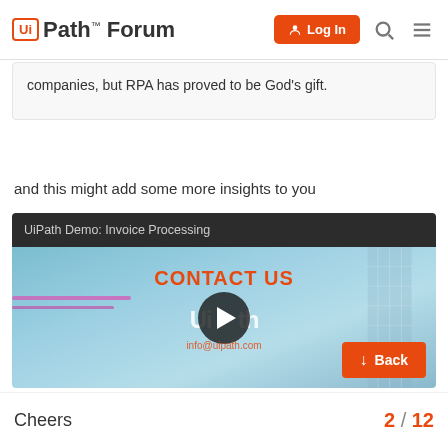UiPath Forum — Log In
companies, but RPA has proved to be God's gift.
and this might add some more insights to you
[Figure (screenshot): UiPath Demo: Invoice Processing video thumbnail showing 'CONTACT US' text, UiPath logo, play button, info@uipath.com email, and a Back button]
Cheers
2 / 12